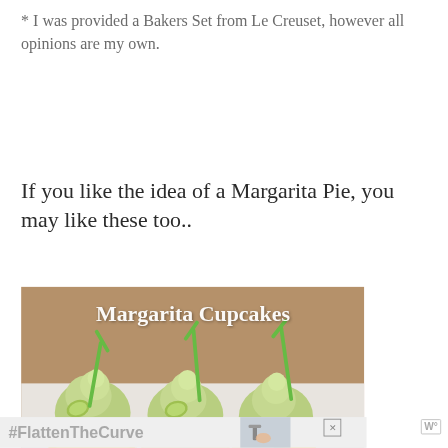* I was provided a Bakers Set from Le Creuset, however all opinions are my own.
If you like the idea of a Margarita Pie, you may like these too..
[Figure (photo): Photo of three margarita cupcakes with light green frosting, lime slices, and green straws on top, with white text overlay reading 'Margarita Cupcakes']
[Figure (infographic): Advertisement banner with '#FlattenTheCurve' text, a photo of hands being washed at a faucet, a close button (X), and what appears to be a WordPress logo (W)]